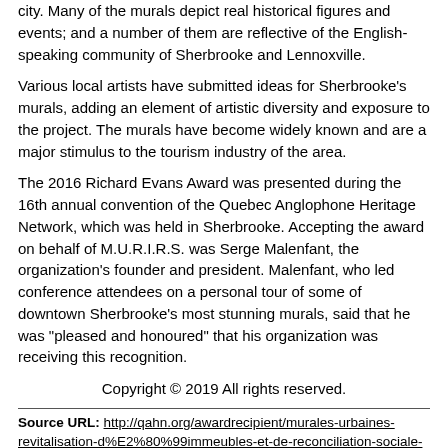city. Many of the murals depict real historical figures and events; and a number of them are reflective of the English-speaking community of Sherbrooke and Lennoxville.
Various local artists have submitted ideas for Sherbrooke's murals, adding an element of artistic diversity and exposure to the project. The murals have become widely known and are a major stimulus to the tourism industry of the area.
The 2016 Richard Evans Award was presented during the 16th annual convention of the Quebec Anglophone Heritage Network, which was held in Sherbrooke. Accepting the award on behalf of M.U.R.I.R.S. was Serge Malenfant, the organization's founder and president. Malenfant, who led conference attendees on a personal tour of some of downtown Sherbrooke's most stunning murals, said that he was "pleased and honoured" that his organization was receiving this recognition.
Copyright © 2019 All rights reserved.
Source URL: http://qahn.org/awardrecipient/murales-urbaines-revitalisation-d%E2%80%99immeubles-et-de-reconciliation-sociale-murirs